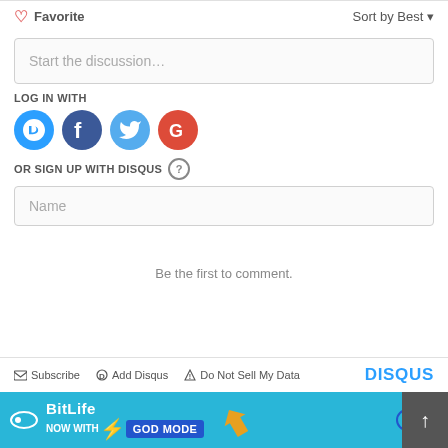Favorite  Sort by Best
Start the discussion…
LOG IN WITH
[Figure (illustration): Social login icons: Disqus (blue D), Facebook (dark blue f), Twitter (light blue bird), Google (red G)]
OR SIGN UP WITH DISQUS ?
Name
Be the first to comment.
Subscribe  Add Disqus  Do Not Sell My Data  DISQUS
[Figure (illustration): BitLife ad banner: BitLife logo, NOW WITH GOD MODE text, hand pointing finger, help and close buttons]